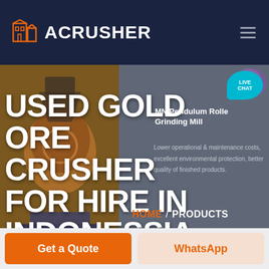ACRUSHER
USED GOLD ORE CRUSHER FOR HIRE IN INDONESSIA
MN Pendulum Roller Grinding Mill
Lower operational & maintenance costs, excellent environmental protection, better quality of finished products.
LIVE CHAT
HOME / PRODUCTS
Get a Quote
WhatsApp